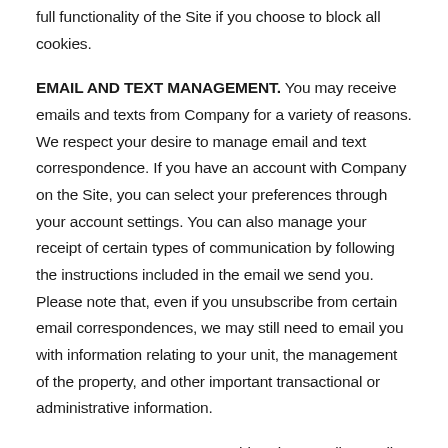full functionality of the Site if you choose to block all cookies.
EMAIL AND TEXT MANAGEMENT. You may receive emails and texts from Company for a variety of reasons. We respect your desire to manage email and text correspondence. If you have an account with Company on the Site, you can select your preferences through your account settings. You can also manage your receipt of certain types of communication by following the instructions included in the email we send you. Please note that, even if you unsubscribe from certain email correspondences, we may still need to email you with information relating to your unit, the management of the property, and other important transactional or administrative information.
THIRD-PARTY WEBSITES. This Privacy Policy applies solely to information collected by Company. This Privacy Policy does not apply to other websites that are accessible through this